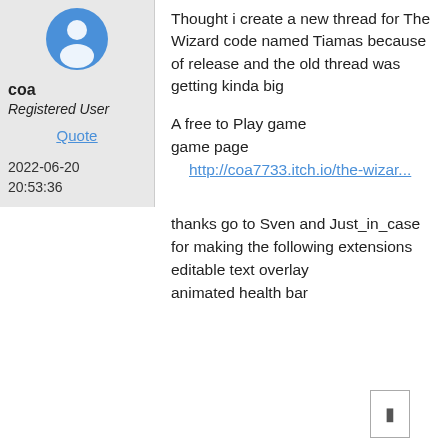[Figure (illustration): Blue circular avatar icon with generic user silhouette]
coa
Registered User
Quote
2022-06-20 20:53:36
Thought i create a new thread for The Wizard code named Tiamas because of release and the old thread was getting kinda big
A free to Play game
game page
http://coa7733.itch.io/the-wizar...
thanks go to Sven and Just_in_case for making the following extensions editable text overlay animated health bar